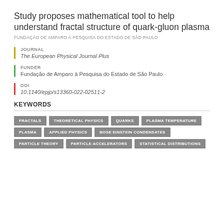Study proposes mathematical tool to help understand fractal structure of quark-gluon plasma
FUNDAÇÃO DE AMPARO À PESQUISA DO ESTADO DE SÃO PAULO
JOURNAL
The European Physical Journal Plus
FUNDER
Fundação de Amparo à Pesquisa do Estado de São Paulo
DOI
10.1140/epjp/s13360-022-02511-2
KEYWORDS
FRACTALS
THEORETICAL PHYSICS
QUARKS
PLASMA TEMPERATURE
PLASMA
APPLIED PHYSICS
BOSE EINSTEIN CONDENSATES
PARTICLE THEORY
PARTICLE ACCELERATORS
STATISTICAL DISTRIBUTIONS